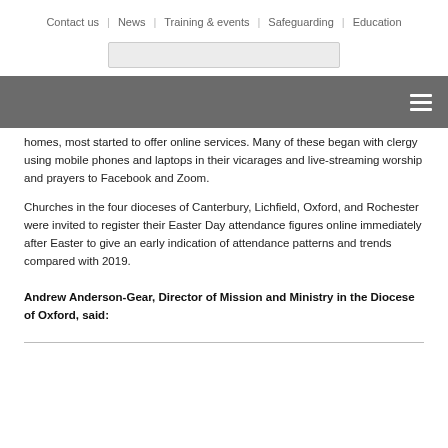Contact us  News  Training & events  Safeguarding  Education
homes, most started to offer online services. Many of these began with clergy using mobile phones and laptops in their vicarages and live-streaming worship and prayers to Facebook and Zoom.
Churches in the four dioceses of Canterbury, Lichfield, Oxford, and Rochester were invited to register their Easter Day attendance figures online immediately after Easter to give an early indication of attendance patterns and trends compared with 2019.
Andrew Anderson-Gear, Director of Mission and Ministry in the Diocese of Oxford, said: